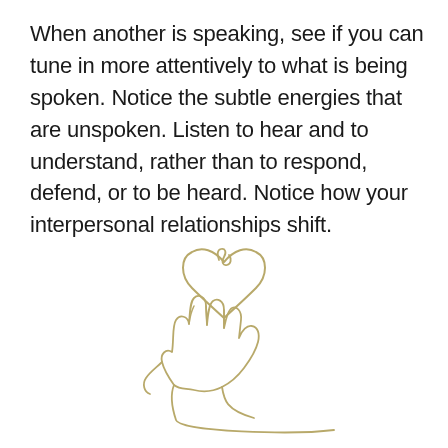When another is speaking, see if you can tune in more attentively to what is being spoken. Notice the subtle energies that are unspoken. Listen to hear and to understand, rather than to respond, defend, or to be heard. Notice how your interpersonal relationships shift.
[Figure (illustration): Line drawing in golden/tan color of an open hand holding a heart shape above it. The heart has an infinity-loop style knot at the top. Drawn in a minimal single-line art style.]